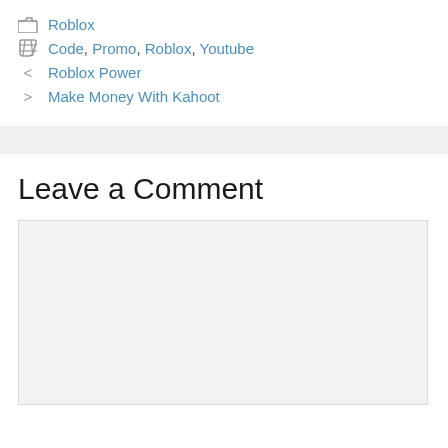Roblox
Code, Promo, Roblox, Youtube
< Roblox Power
> Make Money With Kahoot
Leave a Comment
[Figure (other): Empty comment text area input box with light gray background]